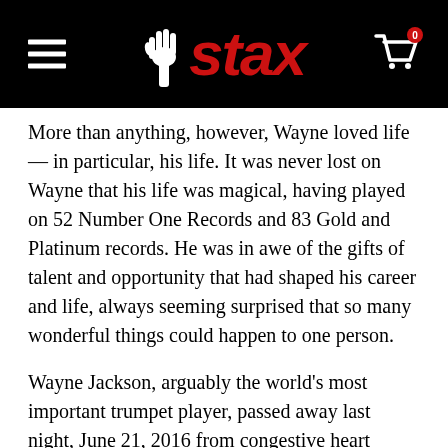stax
More than anything, however, Wayne loved life — in particular, his life. It was never lost on Wayne that his life was magical, having played on 52 Number One Records and 83 Gold and Platinum records. He was in awe of the gifts of talent and opportunity that had shaped his career and life, always seeming surprised that so many wonderful things could happen to one person.
Wayne Jackson, arguably the world's most important trumpet player, passed away last night, June 21, 2016 from congestive heart failure with Amy by his side.
The first time Wayne Jackson encountered a trumpet, which his mother bought for him when he was 11 years, he knew something magical was about to happen. As he writes in In